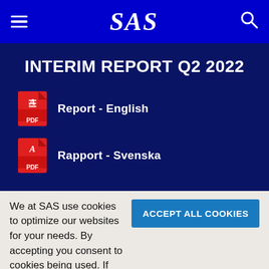SAS
INTERIM REPORT Q2 2022
Report - English
Rapport - Svenska
We at SAS use cookies to optimize our websites for your needs. By accepting you consent to cookies being used. If you want to find out more or disable cookies, please click here